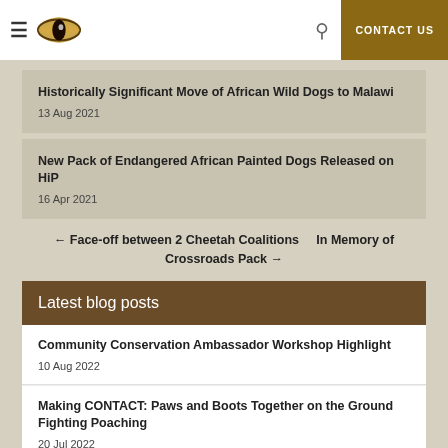CONTACT US
Historically Significant Move of African Wild Dogs to Malawi
13 Aug 2021
New Pack of Endangered African Painted Dogs Released on HiP
16 Apr 2021
← Face-off between 2 Cheetah Coalitions    In Memory of Crossroads Pack →
Latest blog posts
Community Conservation Ambassador Workshop Highlight
10 Aug 2022
Making CONTACT: Paws and Boots Together on the Ground Fighting Poaching
20 Jul 2022